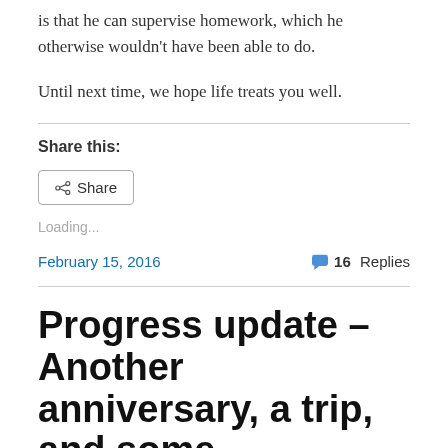is that he can supervise homework, which he otherwise wouldn't have been able to do.
Until next time, we hope life treats you well.
Share this:
Loading...
February 15, 2016    16 Replies
Progress update – Another anniversary, a trip, and some